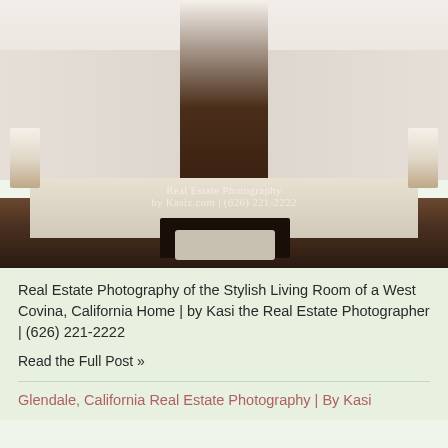[Figure (photo): Interior living room of a West Covina, California home with white sofas, dark wood coffee table, brown accent wall with fireplace, and large windows. Watermark text visible.]
Real Estate Photography of the Stylish Living Room of a West Covina, California Home | by Kasi the Real Estate Photographer | (626) 221-2222
Read the Full Post »
Glendale, California Real Estate Photography | By Kasi